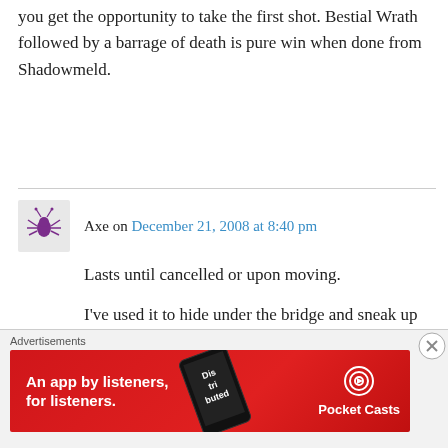you get the opportunity to take the first shot. Bestial Wrath followed by a barrage of death is pure win when done from Shadowmeld.
Axe on December 21, 2008 at 8:40 pm
Lasts until cancelled or upon moving.
I've used it to hide under the bridge and sneak up behind the other team.
HOW? when it is cancelled upon moving.
Advertisements
[Figure (other): Pocket Casts advertisement banner: red background with text 'An app by listeners, for listeners.' and Pocket Casts logo with phone graphic.]